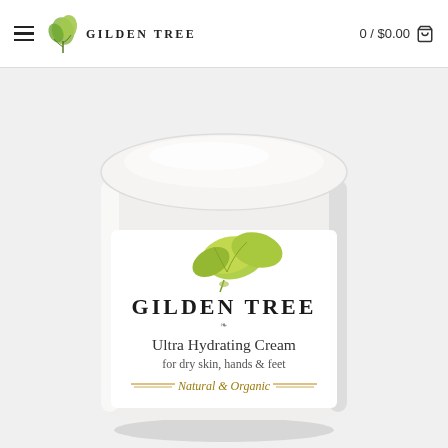≡  GILDEN TREE   0 / $0.00 🛒
[Figure (photo): Gilden Tree Ultra Hydrating Cream jar for dry skin, hands & feet — Natural & Organic, white cylindrical container with green leaf logo on label]